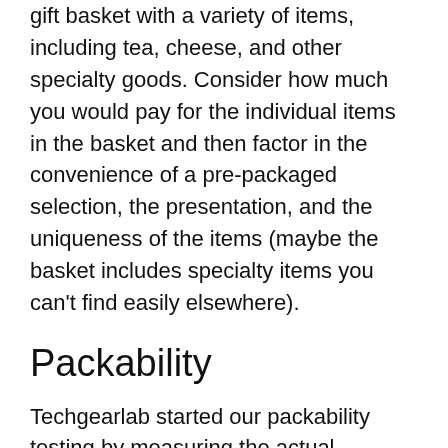gift basket with a variety of items, including tea, cheese, and other specialty goods. Consider how much you would pay for the individual items in the basket and then factor in the convenience of a pre-packaged selection, the presentation, and the uniqueness of the items (maybe the basket includes specialty items you can't find easily elsewhere).
Packability
Techgearlab started our packability testing by measuring the actual dimensions of every model. They evaluated the diversity of objects they could fit inside and considered the efficiency of their overall size vs. capacity. We jammed them to the brim and